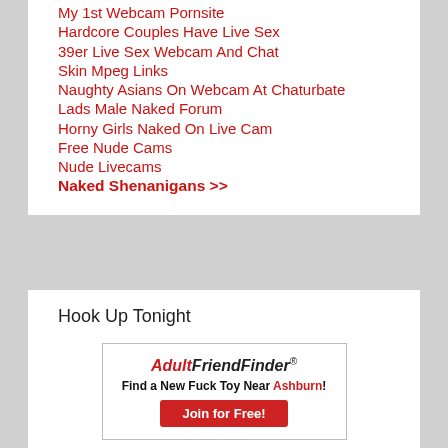My 1st Webcam Pornsite
Hardcore Couples Have Live Sex
39er Live Sex Webcam And Chat
Skin Mpeg Links
Naughty Asians On Webcam At Chaturbate
Lads Male Naked Forum
Horny Girls Naked On Live Cam
Free Nude Cams
Nude Livecams
Naked Shenanigans >>
Hook Up Tonight
[Figure (other): AdultFriendFinder advertisement banner with text 'Find a New Fuck Toy Near Ashburn!' and a 'Join for Free!' button]